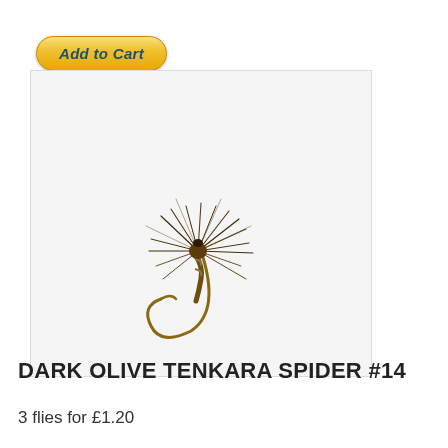[Figure (other): Add to Cart button with golden gradient background and dark blue italic bold text]
[Figure (photo): A dark olive tenkara spider fly fishing lure (#14) with brown feathers and a curved hook, photographed on a light grey/white background]
DARK OLIVE TENKARA SPIDER #14
3 flies for £1.20